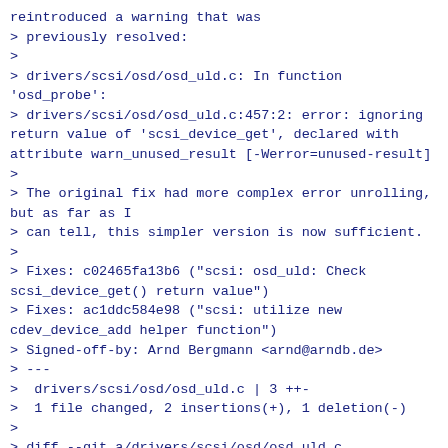reintroduced a warning that was
> previously resolved:
>
> drivers/scsi/osd/osd_uld.c: In function 'osd_probe':
> drivers/scsi/osd/osd_uld.c:457:2: error: ignoring return value of 'scsi_device_get', declared with attribute warn_unused_result [-Werror=unused-result]
>
> The original fix had more complex error unrolling, but as far as I
> can tell, this simpler version is now sufficient.
>
> Fixes: c02465fa13b6 ("scsi: osd_uld: Check scsi_device_get() return value")
> Fixes: ac1ddc584e98 ("scsi: utilize new cdev_device_add helper function")
> Signed-off-by: Arnd Bergmann <arnd@arndb.de>
> ---
>  drivers/scsi/osd/osd_uld.c | 3 ++-
>  1 file changed, 2 insertions(+), 1 deletion(-)
>
> diff --git a/drivers/scsi/osd/osd_uld.c b/drivers/scsi/osd/osd_uld.c
> index 8b9941a5687a..0e56f1eb05dc 100644
> --- a/drivers/scsi/osd/osd_uld.c
> +++ b/drivers/scsi/osd/osd_uld.c
> @@ -454,7 +454,8 @@ static int osd_probe(struct device *dev)
>       /* hold one more reference to the scsi_device that will get released